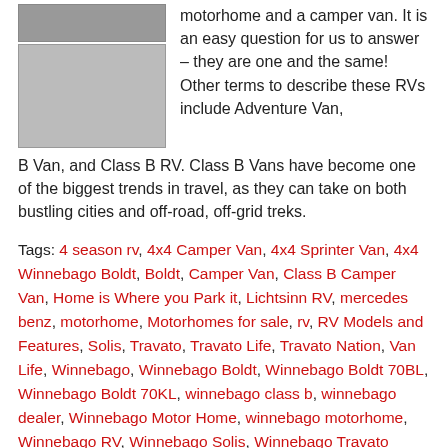[Figure (photo): Two vans/camper vehicles — a smaller image on top and a larger image of two vans (white and red) below it]
motorhome and a camper van. It is an easy question for us to answer – they are one and the same! Other terms to describe these RVs include Adventure Van, B Van, and Class B RV. Class B Vans have become one of the biggest trends in travel, as they can take on both bustling cities and off-road, off-grid treks.
Tags: 4 season rv, 4x4 Camper Van, 4x4 Sprinter Van, 4x4 Winnebago Boldt, Boldt, Camper Van, Class B Camper Van, Home is Where you Park it, Lichtsinn RV, mercedes benz, motorhome, Motorhomes for sale, rv, RV Models and Features, Solis, Travato, Travato Life, Travato Nation, Van Life, Winnebago, Winnebago Boldt, Winnebago Boldt 70BL, Winnebago Boldt 70KL, winnebago class b, winnebago dealer, Winnebago Motor Home, winnebago motorhome, Winnebago RV, Winnebago Solis, Winnebago Travato